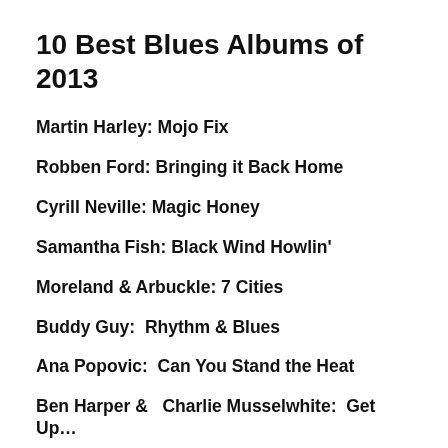10 Best Blues Albums of 2013
Martin Harley: Mojo Fix
Robben Ford: Bringing it Back Home
Cyrill Neville: Magic Honey
Samantha Fish: Black Wind Howlin'
Moreland & Arbuckle: 7 Cities
Buddy Guy:  Rhythm & Blues
Ana Popovic:  Can You Stand the Heat
Ben Harper &   Charlie Musselwhite:  Get Up…